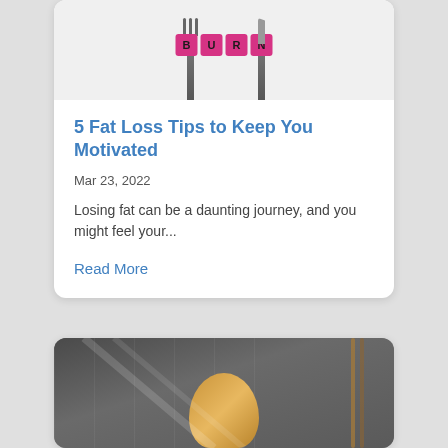[Figure (photo): Photo showing the word BURN spelled out in pink letter tiles on a plate, flanked by fork and knife utensils on a white background.]
5 Fat Loss Tips to Keep You Motivated
Mar 23, 2022
Losing fat can be a daunting journey, and you might feel your...
Read More
[Figure (photo): Photo of a person with blonde hair in a gym setting, with ropes visible on the right side.]